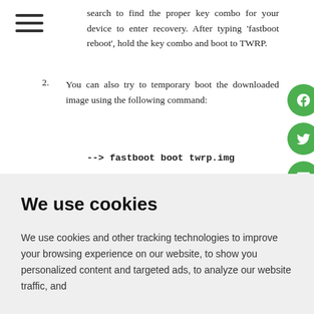[Figure (other): Hamburger menu icon with three horizontal lines]
search to find the proper key combo for your device to enter recovery. After typing 'fastboot reboot', hold the key combo and boot to TWRP.
2. You can also try to temporary boot the downloaded image using the following command:
--> fastboot boot twrp.img
3. Once TWRP is booted, TWRP will patch the
We use cookies
We use cookies and other tracking technologies to improve your browsing experience on our website, to show you personalized content and targeted ads, to analyze our website traffic, and